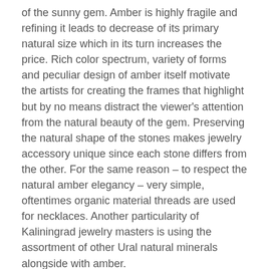of the sunny gem. Amber is highly fragile and refining it leads to decrease of its primary natural size which in its turn increases the price. Rich color spectrum, variety of forms and peculiar design of amber itself motivate the artists for creating the frames that highlight but by no means distract the viewer's attention from the natural beauty of the gem. Preserving the natural shape of the stones makes jewelry accessory unique since each stone differs from the other. For the same reason – to respect the natural amber elegancy – very simple, oftentimes organic material threads are used for necklaces. Another particularity of Kaliningrad jewelry masters is using the assortment of other Ural natural minerals alongside with amber.
A necklace has been one of the prime and earliest fashion accessories of all times in all cultures. Nowadays they come in variety of lengths and styles. Since no neck is created equal length is the important factor to consider when shopping for necklaces. Several standard necklace lengths are:
Collar, 12-16 inches, is placed directly above the collarbone and look best when are worn without other necklaces or paired with the low style one.